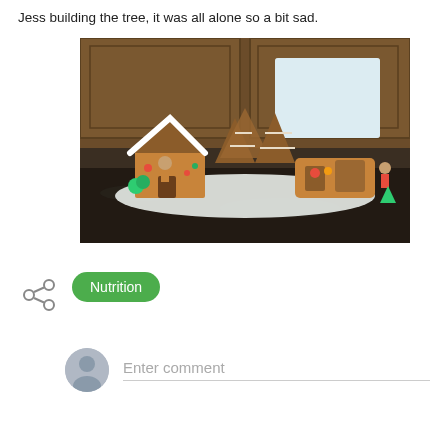Jess building the tree, it was all alone so a bit sad.
[Figure (photo): Photo of a gingerbread house scene on a kitchen counter, showing a decorated gingerbread house with white icing, gingerbread Christmas trees, a Santa sleigh piece, and figurines arranged on a white board. A Gingerbread House Santa Sleigh kit box is visible in the background.]
[Figure (other): Share icon (three connected dots)]
Nutrition
Enter comment